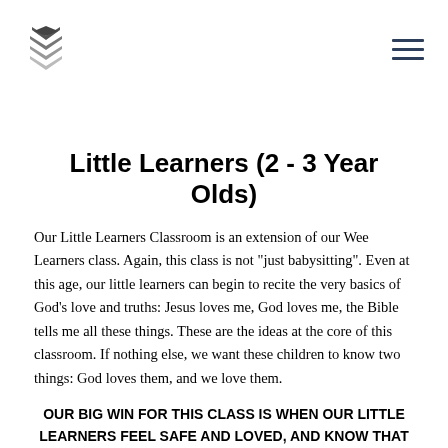[Figure (logo): Church logo: stacked chevron/arrow symbol in grey/silver]
[Figure (other): Hamburger menu icon (three horizontal dark lines)]
Little Learners (2 - 3 Year Olds)
Our Little Learners Classroom is an extension of our Wee Learners class. Again, this class is not "just babysitting". Even at this age, our little learners can begin to recite the very basics of God's love and truths: Jesus loves me, God loves me, the Bible tells me all these things. These are the ideas at the core of this classroom. If nothing else, we want these children to know two things: God loves them, and we love them.
OUR BIG WIN FOR THIS CLASS IS WHEN OUR LITTLE LEARNERS FEEL SAFE AND LOVED, AND KNOW THAT GOD LOVES THEM.